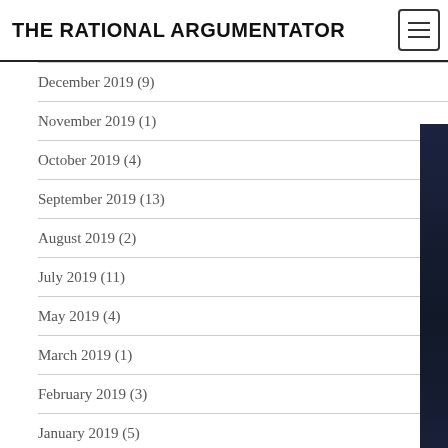THE RATIONAL ARGUMENTATOR
December 2019 (9)
November 2019 (1)
October 2019 (4)
September 2019 (13)
August 2019 (2)
July 2019 (11)
May 2019 (4)
March 2019 (1)
February 2019 (3)
January 2019 (5)